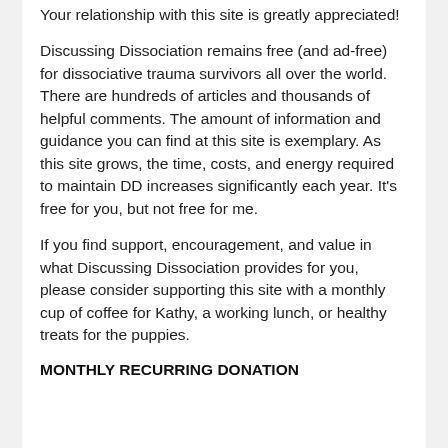Your relationship with this site is greatly appreciated!
Discussing Dissociation remains free (and ad-free) for dissociative trauma survivors all over the world. There are hundreds of articles and thousands of helpful comments. The amount of information and guidance you can find at this site is exemplary. As this site grows, the time, costs, and energy required to maintain DD increases significantly each year. It’s free for you, but not free for me.
If you find support, encouragement, and value in what Discussing Dissociation provides for you, please consider supporting this site with a monthly cup of coffee for Kathy, a working lunch, or healthy treats for the puppies.
MONTHLY RECURRING DONATION